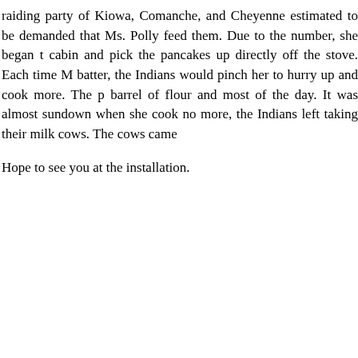raiding party of Kiowa, Comanche, and Cheyenne estimated to be demanded that Ms. Polly feed them. Due to the number, she began t cabin and pick the pancakes up directly off the stove. Each time M batter, the Indians would pinch her to hurry up and cook more. The p barrel of flour and most of the day. It was almost sundown when she cook no more, the Indians left taking their milk cows. The cows came
Hope to see you at the installation.